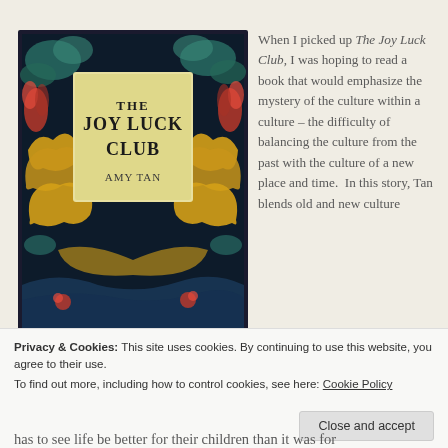[Figure (illustration): Book cover of 'The Joy Luck Club' by Amy Tan, featuring ornate dragons and decorative patterns on a dark background with a central title box]
When I picked up The Joy Luck Club, I was hoping to read a book that would emphasize the mystery of the culture within a culture – the difficulty of balancing the culture from the past with the culture of a new place and time.  In this story, Tan blends old and new culture
Privacy & Cookies: This site uses cookies. By continuing to use this website, you agree to their use.
To find out more, including how to control cookies, see here: Cookie Policy
Close and accept
has to see life be better for their children than it was for